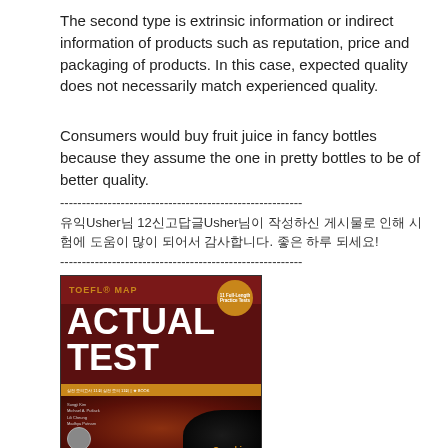The second type is extrinsic information or indirect information of products such as reputation, price and packaging of products. In this case, expected quality does not necessarily match experienced quality.
Consumers would buy fruit juice in fancy bottles because they assume the one in pretty bottles to be of better quality.
--------------------------------------------------------
유익Usher님 12신고답글Usher님이 작성하신 게시물로 인해 시험에 도움이 많이 되어서 감사합니다. 좋은 하루 되세요!
--------------------------------------------------------
[Figure (photo): Book cover of TOEFL MAP ACTUAL TEST Speaking edition with dark red and black design, gold badge, and authors listed]